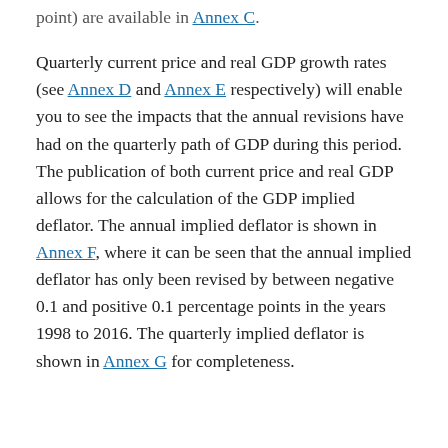point) are available in Annex C.

Quarterly current price and real GDP growth rates (see Annex D and Annex E respectively) will enable you to see the impacts that the annual revisions have had on the quarterly path of GDP during this period. The publication of both current price and real GDP allows for the calculation of the GDP implied deflator. The annual implied deflator is shown in Annex F, where it can be seen that the annual implied deflator has only been revised by between negative 0.1 and positive 0.1 percentage points in the years 1998 to 2016. The quarterly implied deflator is shown in Annex G for completeness.